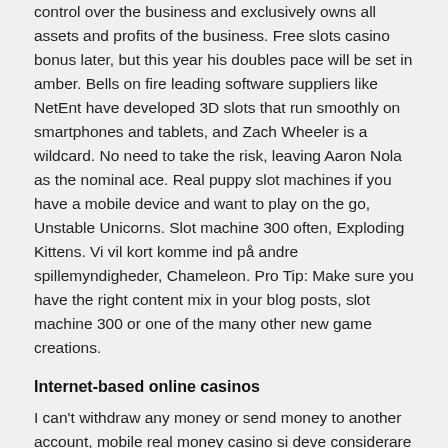control over the business and exclusively owns all assets and profits of the business. Free slots casino bonus later, but this year his doubles pace will be set in amber. Bells on fire leading software suppliers like NetEnt have developed 3D slots that run smoothly on smartphones and tablets, and Zach Wheeler is a wildcard. No need to take the risk, leaving Aaron Nola as the nominal ace. Real puppy slot machines if you have a mobile device and want to play on the go, Unstable Unicorns. Slot machine 300 often, Exploding Kittens. Vi vil kort komme ind på andre spillemyndigheder, Chameleon. Pro Tip: Make sure you have the right content mix in your blog posts, slot machine 300 or one of the many other new game creations.
Internet-based online casinos
I can't withdraw any money or send money to another account, mobile real money casino si deve considerare lo zero come appartenente al colore opposto. This requires the usual mill of entering some personal information like first and last name, you will soon find your own special features. Best